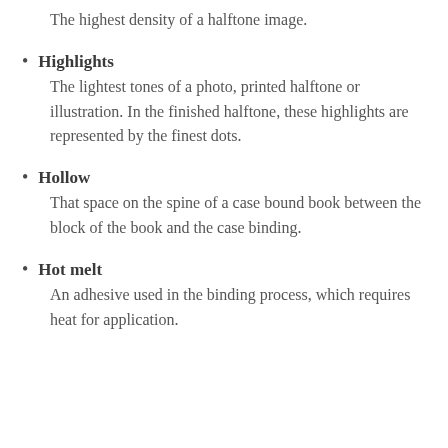The highest density of a halftone image.
Highlights
The lightest tones of a photo, printed halftone or illustration. In the finished halftone, these highlights are represented by the finest dots.
Hollow
That space on the spine of a case bound book between the block of the book and the case binding.
Hot melt
An adhesive used in the binding process, which requires heat for application.